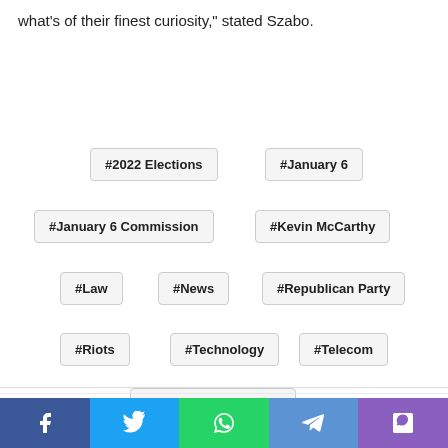what's of their finest curiosity," stated Szabo.
#2022 Elections
#January 6
#January 6 Commission
#Kevin McCarthy
#Law
#News
#Republican Party
#Riots
#Technology
#Telecom
#U.S. Capitol Building
Share buttons: Facebook, Twitter, WhatsApp, Telegram, Viber